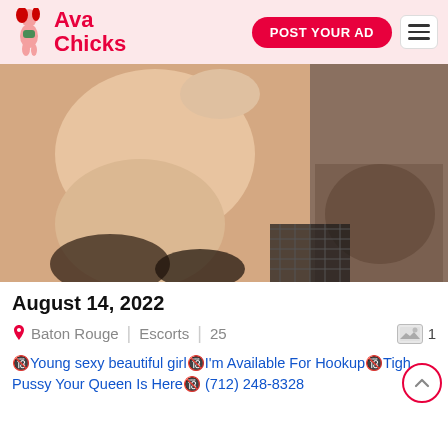Ava Chicks | POST YOUR AD
[Figure (photo): A photograph showing a young woman, torso visible, in a bedroom setting]
August 14, 2022
Baton Rouge | Escorts | 25   [image icon] 1
🔞Young sexy beautiful girl🔞I'm Available For Hookup🔞Tigh Pussy Your Queen Is Here🔞 (712) 248-8328